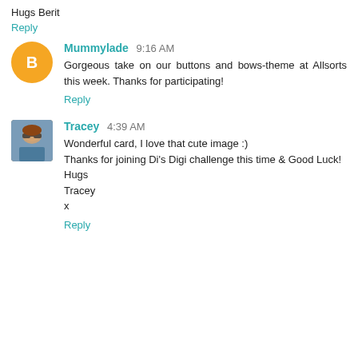Hugs Berit
Reply
Mummylade 9:16 AM
Gorgeous take on our buttons and bows-theme at Allsorts this week. Thanks for participating!
Reply
Tracey 4:39 AM
Wonderful card, I love that cute image :)
Thanks for joining Di's Digi challenge this time & Good Luck!
Hugs
Tracey
x
Reply